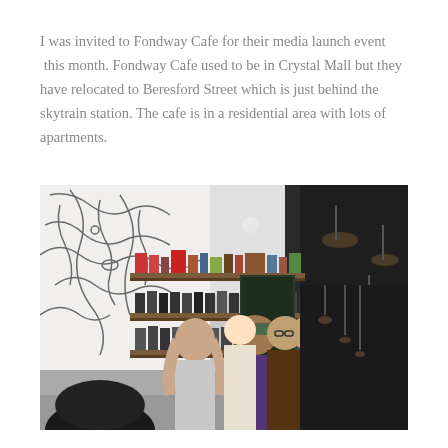I was invited to Fondway Cafe for their media launch event this month. Fondway Cafe used to be in Crystal Mall but they have relocated to Beresford Street which is just behind the skytrain station. The cafe is in a residential area with lots of apartments.
[Figure (photo): Interior of Fondway Cafe during media launch event. Shows shelves with products on the left wall which has a dragon mural, pendant lights on the ceiling, and a crowd of people mingling inside the cafe.]